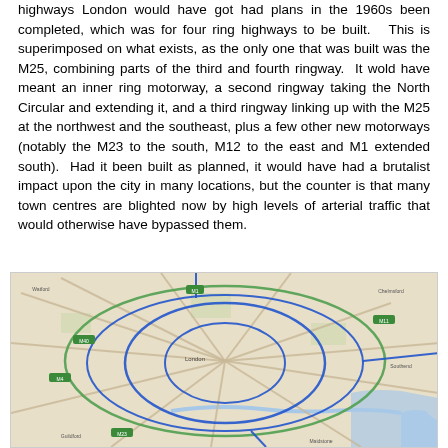highways London would have got had plans in the 1960s been completed, which was for four ring highways to be built. This is superimposed on what exists, as the only one that was built was the M25, combining parts of the third and fourth ringway. It wold have meant an inner ring motorway, a second ringway taking the North Circular and extending it, and a third ringway linking up with the M25 at the northwest and the southeast, plus a few other new motorways (notably the M23 to the south, M12 to the east and M1 extended south). Had it been built as planned, it would have had a brutalist impact upon the city in many locations, but the counter is that many town centres are blighted now by high levels of arterial traffic that would otherwise have bypassed them.
[Figure (map): A road map of Greater London and surroundings showing the existing road network overlaid with planned ring highways (shown in blue) from the 1960s plans, including inner ring motorway, second ringway extending the North Circular, third ringway connecting to the M25, and additional motorways.]